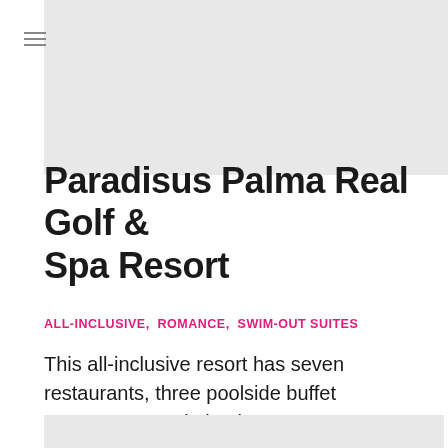[Figure (photo): Top image placeholder - light gray rectangle representing a hotel/resort photo]
Paradisus Palma Real Golf & Spa Resort
ALL-INCLUSIVE, ROMANCE, SWIM-OUT SUITES
This all-inclusive resort has seven restaurants, three poolside buffet restaurants, and nine bars ...
[Figure (photo): Bottom image placeholder - light gray rectangle representing a hotel/resort photo]